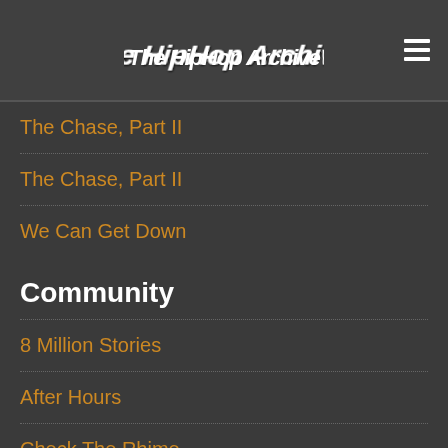The Hip Hop Archive
The Chase, Part II
The Chase, Part II
We Can Get Down
Community
8 Million Stories
After Hours
Check The Rhime
Excursions
Jazz (We've Got)
Midnight
Push It Along